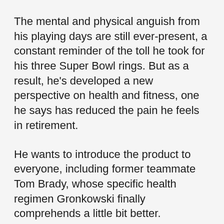The mental and physical anguish from his playing days are still ever-present, a constant reminder of the toll he took for his three Super Bowl rings. But as a result, he’s developed a new perspective on health and fitness, one he says has reduced the pain he feels in retirement.
He wants to introduce the product to everyone, including former teammate Tom Brady, whose specific health regimen Gronkowski finally comprehends a little bit better.
“He sprays this water on his face,” Gronkowski said. “It had, like, a certain